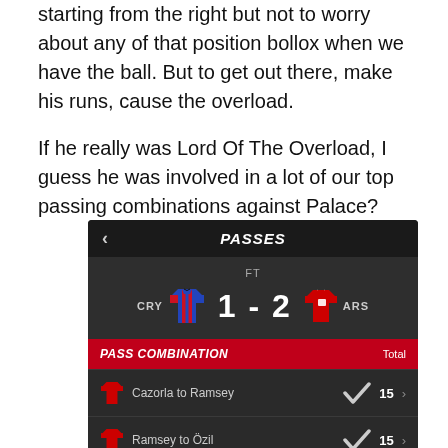starting from the right but not to worry about any of that position bollox when we have the ball. But to get out there, make his runs, cause the overload.
If he really was Lord Of The Overload, I guess he was involved in a lot of our top passing combinations against Palace?
[Figure (screenshot): Football stats widget showing PASSES header, CRY 1 - 2 ARS scoreline (FT), PASS COMBINATION section with Total column. Cazorla to Ramsey: 15, Ramsey to Özil: 15.]